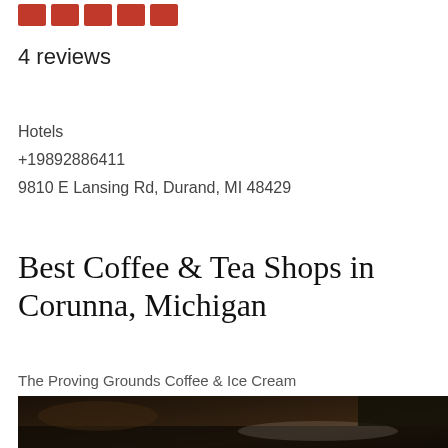[Figure (illustration): Five red star rating blocks arranged in a row]
4 reviews
Hotels
+19892886411
9810 E Lansing Rd, Durand, MI 48429
Best Coffee & Tea Shops in Corunna, Michigan
The Proving Grounds Coffee & Ice Cream
[Figure (photo): Dark close-up photo of a coffee or beverage item]